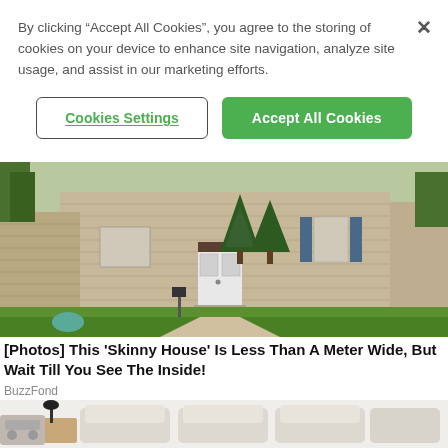By clicking “Accept All Cookies”, you agree to the storing of cookies on your device to enhance site navigation, analyze site usage, and assist in our marketing efforts.
[Figure (screenshot): Cookie consent dialog with 'Cookies Settings' outline button and green 'Accept All Cookies' button, and an X close button in the top right.]
[Figure (photo): Exterior photo of a suburban house with beige siding, white front door, green shrubs, and a well-maintained lawn.]
[Photos] This 'Skinny House' Is Less Than A Meter Wide, But Wait Till You See The Inside!
BuzzFond
[Figure (photo): Partial view of a modern beige/cream sofa or sectional with modular components visible at the bottom of the page.]